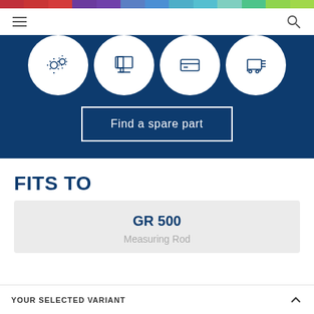[Figure (screenshot): Colored bar with multiple color segments at the top of the page]
Navigation bar with hamburger menu and search icon
[Figure (infographic): Dark blue hero section with circular white icon buttons (settings/gears, computer monitor, credit card, cart/trolley) and a 'Find a spare part' button]
FITS TO
GR 500
Measuring Rod
YOUR SELECTED VARIANT